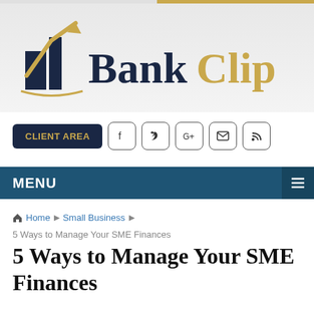[Figure (logo): BankClip logo with dark navy building icon and gold arrow, text BANKCLIP in navy and gold]
CLIENT AREA | Facebook | Twitter | Google+ | Email | RSS
MENU
Home ▶ Small Business ▶
5 Ways to Manage Your SME Finances
5 Ways to Manage Your SME Finances